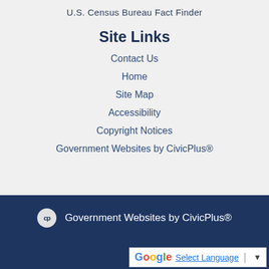U.S. Census Bureau Fact Finder
Site Links
Contact Us
Home
Site Map
Accessibility
Copyright Notices
Government Websites by CivicPlus®
Government Websites by CivicPlus®
Select Language